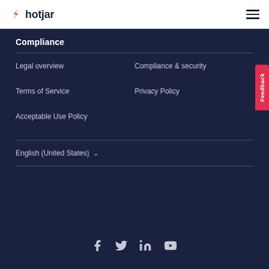hotjar
Compliance
Legal overview
Compliance & security
Terms of Service
Privacy Policy
Acceptable Use Policy
English (United States)
[Figure (illustration): Social media icons: Facebook, Twitter, LinkedIn, YouTube]
Feedback